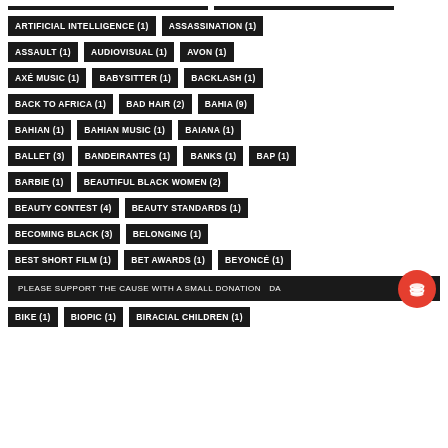ARTIFICIAL INTELLIGENCE (1)
ASSASSINATION (1)
ASSAULT (1)
AUDIOVISUAL (1)
AVON (1)
AXÉ MUSIC (1)
BABYSITTER (1)
BACKLASH (1)
BACK TO AFRICA (1)
BAD HAIR (2)
BAHIA (9)
BAHIAN (1)
BAHIAN MUSIC (1)
BAIANA (1)
BALLET (3)
BANDEIRANTES (1)
BANKS (1)
BAP (1)
BARBIE (1)
BEAUTIFUL BLACK WOMEN (2)
BEAUTY CONTEST (4)
BEAUTY STANDARDS (1)
BECOMING BLACK (3)
BELONGING (1)
BEST SHORT FILM (1)
BET AWARDS (1)
BEYONCÉ (1)
PLEASE SUPPORT THE CAUSE WITH A SMALL DONATION
BIKE (1)
BIOPIC (1)
BIRACIAL CHILDREN (1)